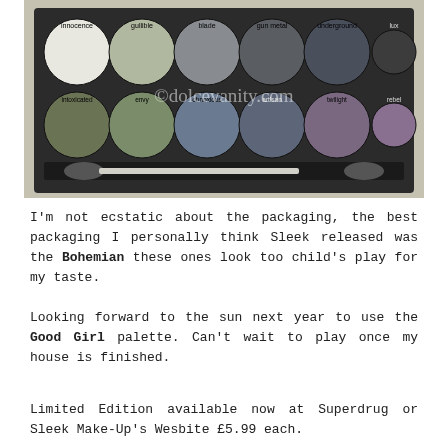[Figure (photo): A Sleek eyeshadow palette with multiple circular eyeshadow pans in green, grey, silver, dark, blue, and purple shades with labels, and two makeup brushes. Watermark reads ©dolcevanity.com]
I'm not ecstatic about the packaging, the best packaging I personally think Sleek released was the Bohemian these ones look too child's play for my taste.
Looking forward to the sun next year to use the Good Girl palette. Can't wait to play once my house is finished.
Limited Edition available now at Superdrug or Sleek Make-Up's Wesbite £5.99 each.